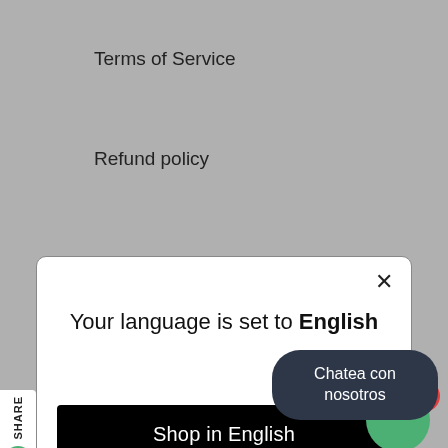Terms of Service
Refund policy
[Figure (screenshot): Language selection modal dialog with title 'Your language is set to English', a black 'Shop in English' button, and 'Change language' link. Overlaid on a grey webpage background showing menu items including Polskie and Русский.]
Polskie
Русский